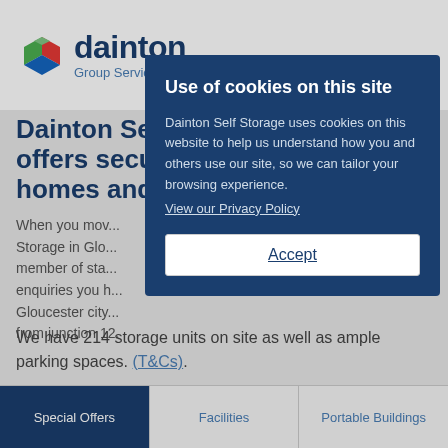[Figure (logo): Dainton Group Services logo with multicolored cube icon and blue text]
Dainton Self Storage offers secure storage for homes and...
When you move... Storage in Gloucester... member of staff... enquiries you have... Gloucester city... from junction 12.
We have 214 storage units on site as well as ample parking spaces. (T&Cs).
[Figure (screenshot): Cookie consent modal dialog with title 'Use of cookies on this site', body text explaining cookie usage, a privacy policy link, and an Accept button]
Special Offers | Facilities | Portable Buildings